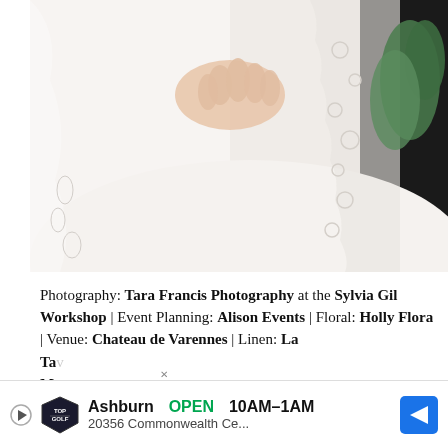[Figure (photo): Close-up wedding photo showing a bride in a lace wedding dress and veil, with a hand resting on her waist, and green floral arrangement visible on the right side.]
Photography: Tara Francis Photography at the Sylvia Gil Workshop | Event Planning: Alison Events | Floral: Holly Flora | Venue: Chateau de Varennes | Linen: La Ta... Ma...
[Figure (screenshot): Advertisement banner for Topgolf Ashburn showing OPEN 10AM-1AM, 20356 Commonwealth Ce...]